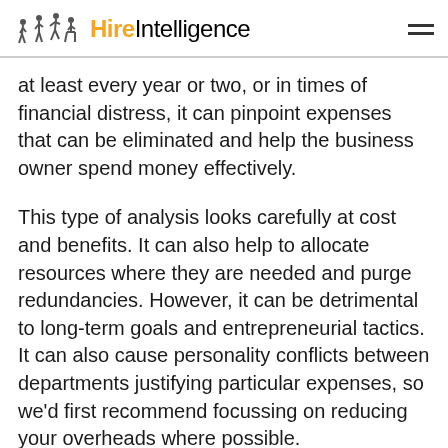Hire Intelligence
at least every year or two, or in times of financial distress, it can pinpoint expenses that can be eliminated and help the business owner spend money effectively.
This type of analysis looks carefully at cost and benefits. It can also help to allocate resources where they are needed and purge redundancies. However, it can be detrimental to long-term goals and entrepreneurial tactics. It can also cause personality conflicts between departments justifying particular expenses, so we’d first recommend focussing on reducing your overheads where possible.